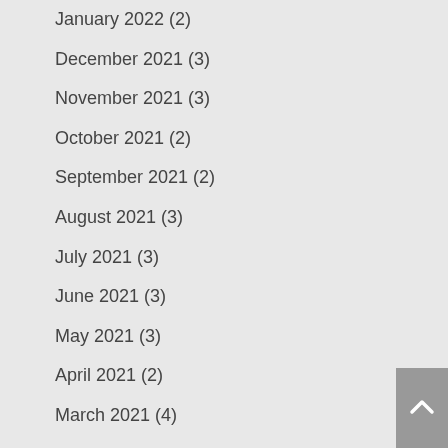January 2022 (2)
December 2021 (3)
November 2021 (3)
October 2021 (2)
September 2021 (2)
August 2021 (3)
July 2021 (3)
June 2021 (3)
May 2021 (3)
April 2021 (2)
March 2021 (4)
February 2021 (2)
January 2021 (2)
December 2020 (3)